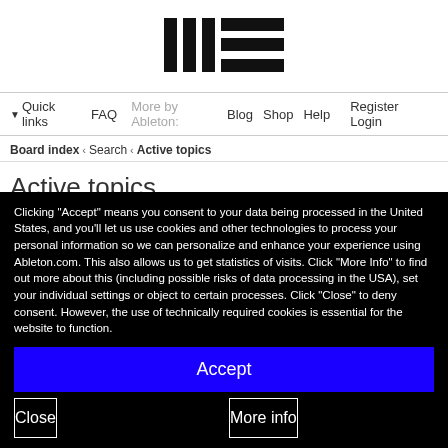[Figure (logo): Ableton logo - vertical bars and horizontal lines icon]
Quick links  FAQ  More by Ableton:  Blog  Shop  Help  Register  Login
Board index < Search < Active topics
Active topics
< Go to advanced search
Search these results
Search found 35 matches • Page 1 of 1
Topics
Clicking "Accept" means you consent to your data being processed in the United States, and you'll let us use cookies and other technologies to process your personal information so we can personalize and enhance your experience using Ableton.com. This also allows us to get statistics of visits. Click "More Info" to find out more about this (including possible risks of data processing in the USA), set your individual settings or object to certain processes. Click "Close" to deny consent. However, the use of technically required cookies is essential for the website to function.
Accept
Close
More info